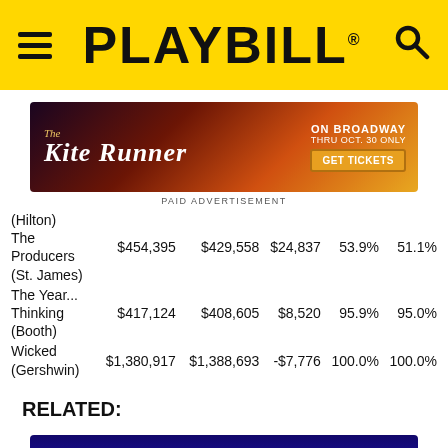PLAYBILL
[Figure (photo): Advertisement for The Kite Runner on Broadway, Thru Oct. 30 Only, GET TICKETS button]
PAID ADVERTISEMENT
| Show | Gross | Prev Gross | Diff | Cap% | Cap%2 |
| --- | --- | --- | --- | --- | --- |
| (Hilton) |  |  |  |  |  |
| The Producers (St. James) | $454,395 | $429,558 | $24,837 | 53.9% | 51.1% |
| The Year... Thinking (Booth) | $417,124 | $408,605 | $8,520 | 95.9% | 95.0% |
| Wicked (Gershwin) | $1,380,917 | $1,388,693 | -$7,776 | 100.0% | 100.0% |
RELATED:
[Figure (photo): Bottom photo, partially visible, dark blue and yellow background]